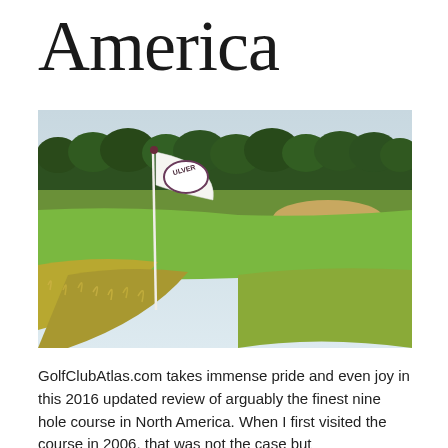America
[Figure (photo): Golf course photograph showing a white flag with 'ULVER' text on a flagstick in the foreground, lush green fairway and rough in the middle ground, and dense tree line along the horizon under a pale blue sky.]
GolfClubAtlas.com takes immense pride and even joy in this 2016 updated review of arguably the finest nine hole course in North America. When I first visited the course in 2006, that was not the case but